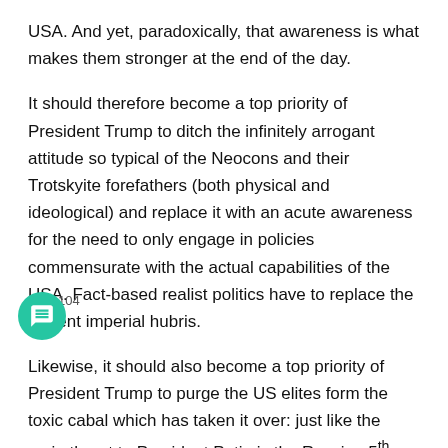USA. And yet, paradoxically, that awareness is what makes them stronger at the end of the day.
It should therefore become a top priority of President Trump to ditch the infinitely arrogant attitude so typical of the Neocons and their Trotskyite forefathers (both physical and ideological) and replace it with an acute awareness for the need to only engage in policies commensurate with the actual capabilities of the USA. Fact-based realist politics have to replace the current imperial hubris.
Likewise, it should also become a top priority of President Trump to purge the US elites form the toxic cabal which has taken it over: just like the main threat to President Putin is the Russian 5th column, I strongly believe that the biggest threat to President Trump will be the Neocon-controlled US 5th column in the USA, especially in Congress, media, Hollywood and the intelligence community. The Neocons will never gracefully give up or otherwise accept that the American